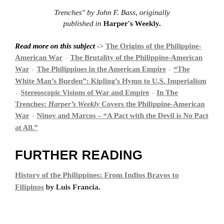Trenches" by John F. Bass, originally published in Harper's Weekly.
Read more on this subject -> The Origins of the Philippine-American War ◦ The Brutality of the Philippine-American War ◦ The Philippines in the American Empire ◦ "The White Man's Burden": Kipling's Hymn to U.S. Imperialism ◦ Stereoscopic Visions of War and Empire ◦ In The Trenches: Harper's Weekly Covers the Philippine-American War ◦ Ninoy and Marcos – "A Pact with the Devil is No Pact at All."
FURTHER READING
History of the Philippines: From Indios Bravos to Filipinos by Luis Francia.